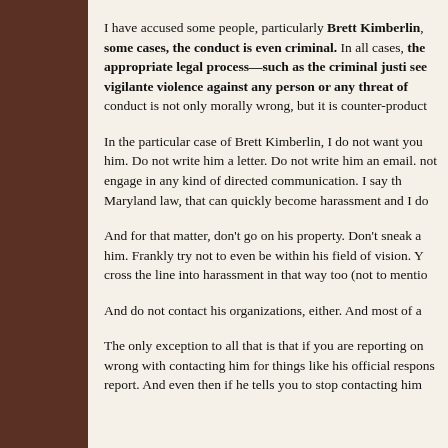I have accused some people, particularly Brett Kimberlin, some cases, the conduct is even criminal. In all cases, the appropriate legal process—such as the criminal justi see vigilante violence against any person or any threat of conduct is not only morally wrong, but it is counter-product
In the particular case of Brett Kimberlin, I do not want you him. Do not write him a letter. Do not write him an email. not engage in any kind of directed communication. I say th Maryland law, that can quickly become harassment and I do
And for that matter, don't go on his property. Don't sneak a him. Frankly try not to even be within his field of vision. Y cross the line into harassment in that way too (not to mention
And do not contact his organizations, either. And most of a
The only exception to all that is that if you are reporting on wrong with contacting him for things like his official respons report. And even then if he tells you to stop contacting him